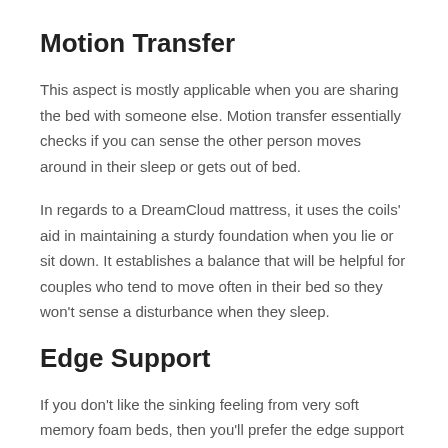Motion Transfer
This aspect is mostly applicable when you are sharing the bed with someone else. Motion transfer essentially checks if you can sense the other person moves around in their sleep or gets out of bed.
In regards to a DreamCloud mattress, it uses the coils' aid in maintaining a sturdy foundation when you lie or sit down. It establishes a balance that will be helpful for couples who tend to move often in their bed so they won't sense a disturbance when they sleep.
Edge Support
If you don't like the sinking feeling from very soft memory foam beds, then you'll prefer the edge support from this bed. The thick coils and additional memory foam acts as your support when you sleep and when you awaken.